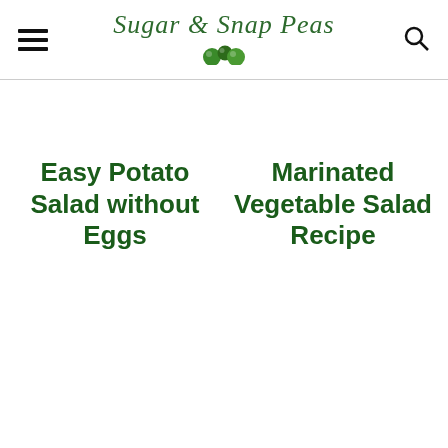Sugar & Snap Peas
Easy Potato Salad without Eggs
Marinated Vegetable Salad Recipe